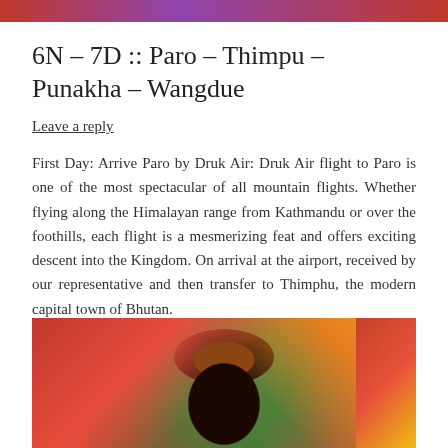[Figure (photo): Narrow colorful banner image at the top of the page, showing a partial view of a vibrant scene with red and purple tones.]
6N – 7D :: Paro – Thimpu – Punakha – Wangdue
Leave a reply
First Day: Arrive Paro by Druk Air: Druk Air flight to Paro is one of the most spectacular of all mountain flights. Whether flying along the Himalayan range from Kathmandu or over the foothills, each flight is a mesmerizing feat and offers exciting descent into the Kingdom. On arrival at the airport, received by our representative and then transfer to Thimphu, the modern capital town of Bhutan.
[Figure (photo): Photo of a traditional Bhutanese masked dancer (Cham dancer) wearing an elaborate black demon mask with colorful traditional costume in red, orange, and yellow. Green grass visible in background.]